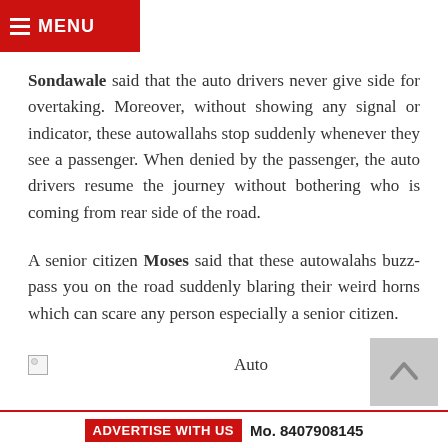MENU
Sondawale said that the auto drivers never give side for overtaking. Moreover, without showing any signal or indicator, these autowallahs stop suddenly whenever they see a passenger. When denied by the passenger, the auto drivers resume the journey without bothering who is coming from rear side of the road.
A senior citizen Moses said that these autowalahs buzz-pass you on the road suddenly blaring their weird horns which can scare any person especially a senior citizen.
[Figure (photo): Broken image placeholder with label 'Auto']
ADVERTISE WITH US  Mo. 8407908145